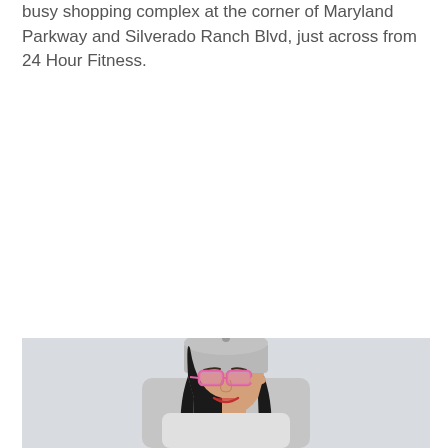busy shopping complex at the corner of Maryland Parkway and Silverado Ranch Blvd, just across from 24 Hour Fitness.
[Figure (photo): A young woman wearing a grey beanie hat and pink sunglasses, smiling, photographed against a light grey background. She is pulling the sunglasses down slightly with one hand. Her long dark hair is visible. The photo is cropped at the shoulders.]